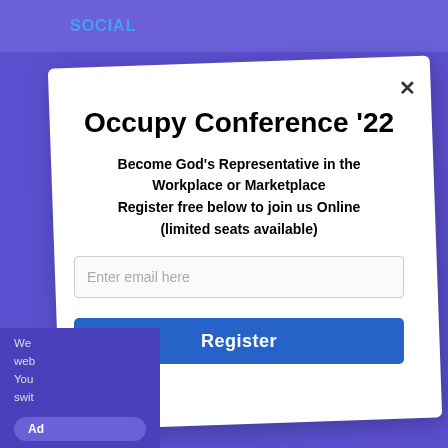SOCIAL
[Figure (screenshot): A modal popup dialog over a purple website background. The modal is titled 'Occupy Conference '22' and contains a description 'Become God's Representative in the Workplace or Marketplace Register free below to join us Online (limited seats available)', an email input field, and a Register button.]
Occupy Conference '22
Become God's Representative in the Workplace or Marketplace Register free below to join us Online (limited seats available)
Enter email here
Register